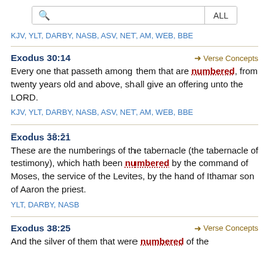[Figure (screenshot): Search bar with magnifying glass icon and ALL button]
KJV, YLT, DARBY, NASB, ASV, NET, AM, WEB, BBE
Exodus 30:14
Every one that passeth among them that are numbered, from twenty years old and above, shall give an offering unto the LORD.
KJV, YLT, DARBY, NASB, ASV, NET, AM, WEB, BBE
Exodus 38:21
These are the numberings of the tabernacle (the tabernacle of testimony), which hath been numbered by the command of Moses, the service of the Levites, by the hand of Ithamar son of Aaron the priest.
YLT, DARBY, NASB
Exodus 38:25
And the silver of them that were numbered of the